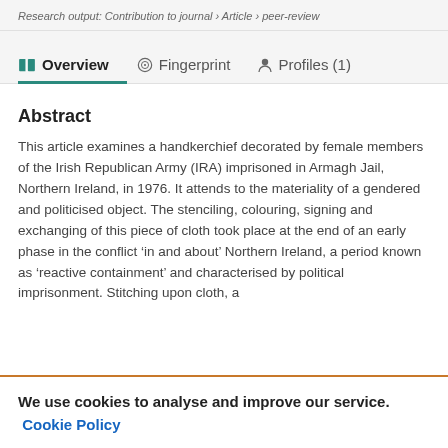Research output: Contribution to journal › Article › peer-review
Overview  Fingerprint  Profiles (1)
Abstract
This article examines a handkerchief decorated by female members of the Irish Republican Army (IRA) imprisoned in Armagh Jail, Northern Ireland, in 1976. It attends to the materiality of a gendered and politicised object. The stenciling, colouring, signing and exchanging of this piece of cloth took place at the end of an early phase in the conflict ‘in and about’ Northern Ireland, a period known as ‘reactive containment’ and characterised by political imprisonment. Stitching upon cloth, a
We use cookies to analyse and improve our service. Cookie Policy